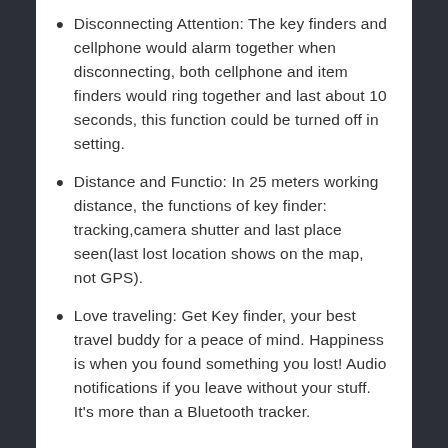Disconnecting Attention: The key finders and cellphone would alarm together when disconnecting, both cellphone and item finders would ring together and last about 10 seconds, this function could be turned off in setting.
Distance and Functio: In 25 meters working distance, the functions of key finder: tracking,camera shutter and last place seen(last lost location shows on the map, not GPS).
Love traveling: Get Key finder, your best travel buddy for a peace of mind. Happiness is when you found something you lost! Audio notifications if you leave without your stuff. It's more than a Bluetooth tracker.